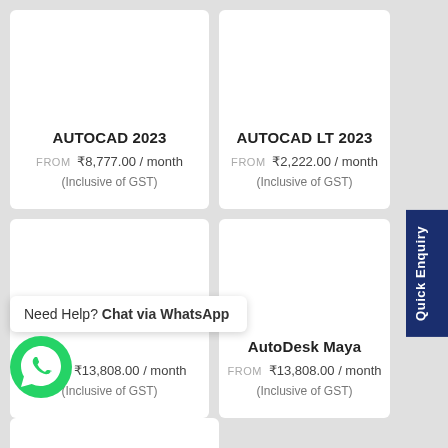AUTOCAD 2023
FROM ₹8,777.00 / month (Inclusive of GST)
AUTOCAD LT 2023
FROM ₹2,222.00 / month (Inclusive of GST)
AutoDesk Maya
FROM ₹13,808.00 / month (Inclusive of GST)
FROM ₹13,808.00 / month (Inclusive of GST)
Need Help? Chat via WhatsApp
Quick Enquiry